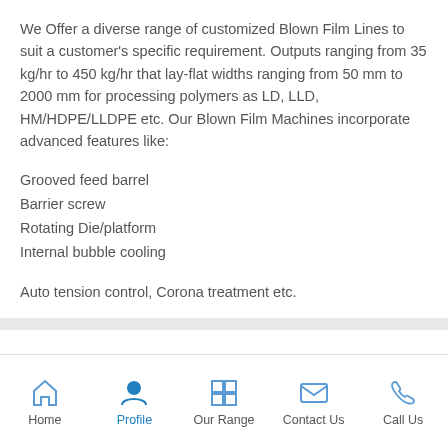We Offer a diverse range of customized Blown Film Lines to suit a customer's specific requirement. Outputs ranging from 35 kg/hr to 450 kg/hr that lay-flat widths ranging from 50 mm to 2000 mm for processing polymers as LD, LLD, HM/HDPE/LLDPE etc. Our Blown Film Machines incorporate advanced features like:
Grooved feed barrel
Barrier screw
Rotating Die/platform
Internal bubble cooling
Auto tension control, Corona treatment etc.
Vega 750 Plus Machine
Home   Profile   Our Range   Contact Us   Call Us